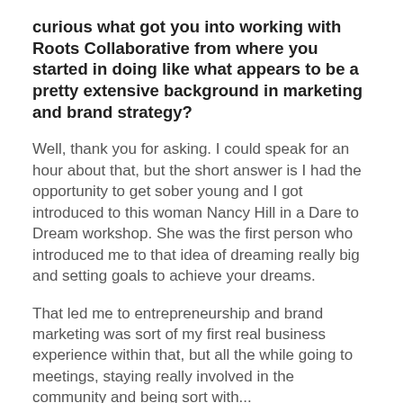curious what got you into working with Roots Collaborative from where you started in doing like what appears to be a pretty extensive background in marketing and brand strategy?
Well, thank you for asking. I could speak for an hour about that, but the short answer is I had the opportunity to get sober young and I got introduced to this woman Nancy Hill in a Dare to Dream workshop. She was the first person who introduced me to that idea of dreaming really big and setting goals to achieve your dreams.
That led me to entrepreneurship and brand marketing was sort of my first real business experience within that, but all the while going to meetings, staying really involved in the community and being sort with...